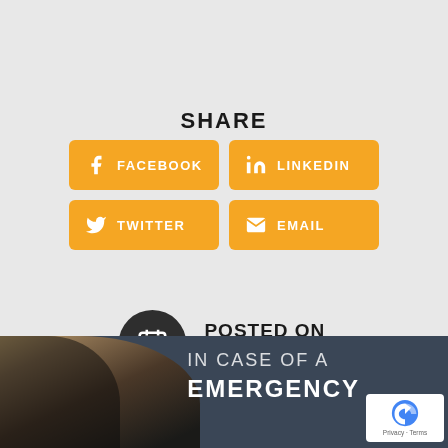SHARE
FACEBOOK
LINKEDIN
TWITTER
EMAIL
POSTED ON 17/05/2022
[Figure (photo): Person with headphones, text reads IN CASE OF A EMERGENCY with reCAPTCHA badge]